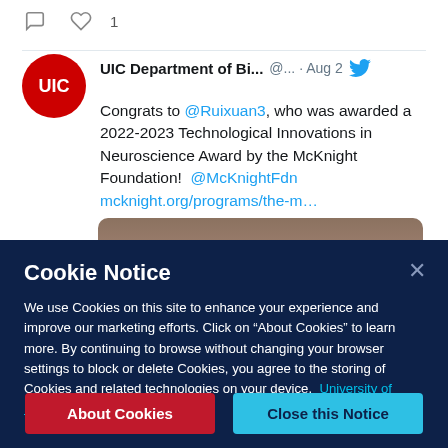[Figure (screenshot): Twitter/social media post from UIC Department of Bi... account dated Aug 2. Includes UIC red circular logo, Twitter bird icon, comment and like icons with count of 1, and tweet text about Ruixuan3 receiving 2022-2023 Technological Innovations in Neuroscience Award by McKnight Foundation with mention of @McKnightFdn and link mcknight.org/programs/the-m...]
Cookie Notice
We use Cookies on this site to enhance your experience and improve our marketing efforts. Click on “About Cookies” to learn more. By continuing to browse without changing your browser settings to block or delete Cookies, you agree to the storing of Cookies and related technologies on your device.  University of Illinois System Cookie Policy
About Cookies
Close this Notice